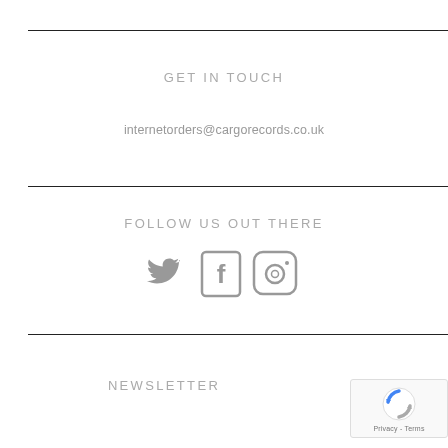GET IN TOUCH
internetorders@cargorecords.co.uk
FOLLOW US OUT THERE
[Figure (infographic): Three social media icons: Twitter bird, Facebook F, Instagram camera outline — all in grey]
NEWSLETTER
[Figure (logo): reCAPTCHA badge with spinning arrows logo and Privacy - Terms text]